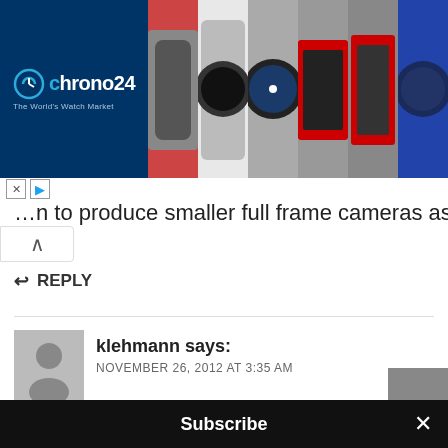[Figure (screenshot): Chrono24 advertisement banner with logo on dark blue background and watch images]
…n to produce smaller full frame cameras as well.
↩ REPLY
klehmann says:
NOVEMBER 26, 2012 AT 3:35 AM
Hi Glen,

I think its not only about rationalism that make people go with/for Leicas – clearly other things are involved. And thank god for that;o)
Subscribe